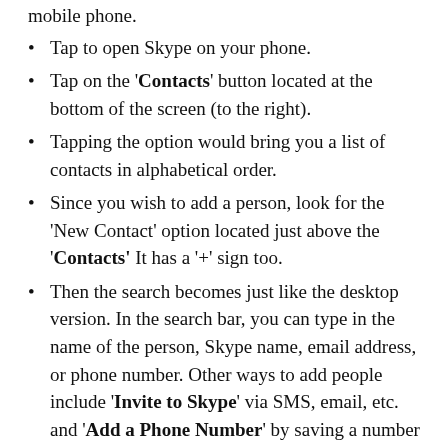mobile phone.
Tap to open Skype on your phone.
Tap on the 'Contacts' button located at the bottom of the screen (to the right).
Tapping the option would bring you a list of contacts in alphabetical order.
Since you wish to add a person, look for the 'New Contact' option located just above the 'Contacts' It has a '+' sign too.
Then the search becomes just like the desktop version. In the search bar, you can type in the name of the person, Skype name, email address, or phone number. Other ways to add people include 'Invite to Skype' via SMS, email, etc. and 'Add a Phone Number' by saving a number to your Skype